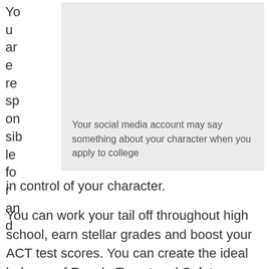You are responsible for and in control of your character.
[Figure (photo): Gray placeholder image box with caption text: 'Your social media account may say something about your character when you apply to college']
Your social media account may say something about your character when you apply to college
You can work your tail off throughout high school, earn stellar grades and boost your ACT test scores. You can create the ideal balance of Reach, Target and Safety schools and craft a slam-dunk college essay and whiz-